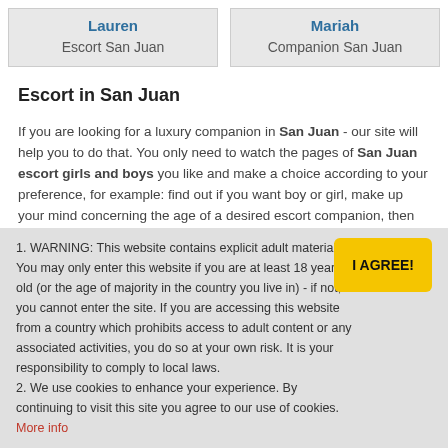| Lauren
Escort San Juan | Mariah
Companion San Juan |
Escort in San Juan
If you are looking for a luxury companion in San Juan - our site will help you to do that. You only need to watch the pages of San Juan escort girls and boys you like and make a choice according to your preference, for example: find out if you want boy or girl, make up your mind concerning the age of a desired escort companion, then think about color of hair and figure, our clients also
1. WARNING: This website contains explicit adult material. You may only enter this website if you are at least 18 years old (or the age of majority in the country you live in) - if not, you cannot enter the site. If you are accessing this website from a country which prohibits access to adult content or any associated activities, you do so at your own risk. It is your responsibility to comply to local laws.
2. We use cookies to enhance your experience. By continuing to visit this site you agree to our use of cookies. More info